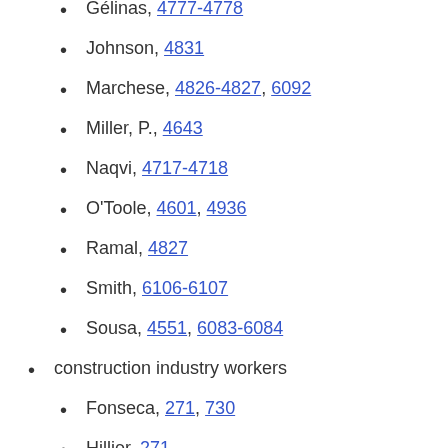Gélinas, 4777-4778
Johnson, 4831
Marchese, 4826-4827, 6092
Miller, P., 4643
Naqvi, 4717-4718
O'Toole, 4601, 4936
Ramal, 4827
Smith, 6106-6107
Sousa, 4551, 6083-6084
construction industry workers
Fonseca, 271, 730
Hillier, 271